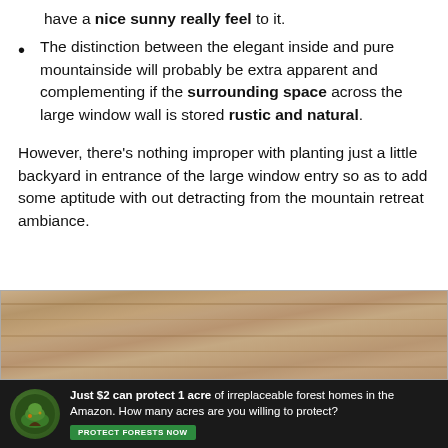have a nice sunny really feel to it.
The distinction between the elegant inside and pure mountainside will probably be extra apparent and complementing if the surrounding space across the large window wall is stored rustic and natural.
However, there’s nothing improper with planting just a little backyard in entrance of the large window entry so as to add some aptitude with out detracting from the mountain retreat ambiance.
[Figure (photo): Wood texture / wooden surface photo at top of advertisement]
[Figure (infographic): Amazon forest protection advertisement. Text: Just $2 can protect 1 acre of irreplaceable forest homes in the Amazon. How many acres are you willing to protect? Button: PROTECT FORESTS NOW]